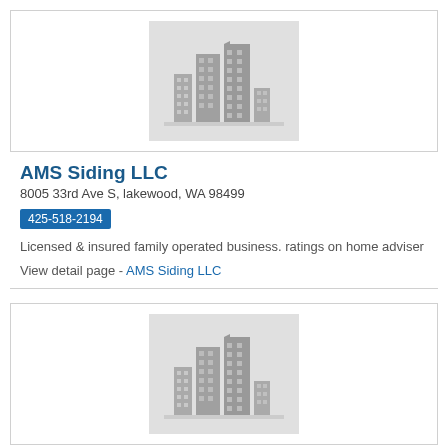[Figure (illustration): Building/city skyline placeholder icon on gray background]
AMS Siding LLC
8005 33rd Ave S, lakewood, WA 98499
425-518-2194
Licensed & insured family operated business. ratings on home adviser
View detail page - AMS Siding LLC
[Figure (illustration): Building/city skyline placeholder icon on gray background (second card)]